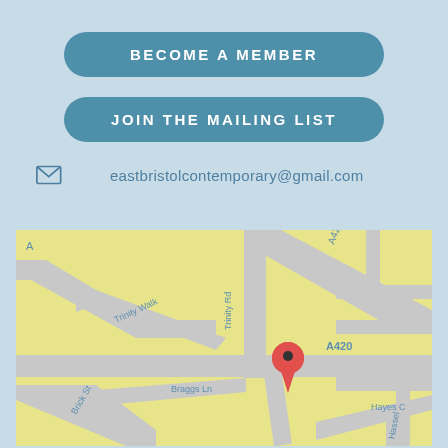BECOME A MEMBER
JOIN THE MAILING LIST
eastbristolcontemporary@gmail.com
[Figure (map): Google Maps screenshot showing Trinity Road (A420) area in Bristol, UK, with a red location pin marker at the intersection near Trinity Rd and A420. Streets visible include Trinity Walk, Brick St, Braggs Ln, Trinity St, Hayes C, and Hassell road fragment.]